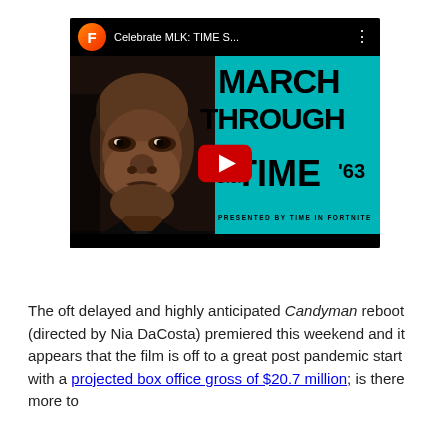[Figure (screenshot): YouTube video thumbnail for 'Celebrate MLK: TIME S...' showing a March Through Time D.C. '63 Fortnite event, with a portrait of MLK on the left and teal background with text on the right, and a red play button in the center.]
The oft delayed and highly anticipated Candyman reboot (directed by Nia DaCosta) premiered this weekend and it appears that the film is off to a great post pandemic start with a projected box office gross of $20.7 million; is there more to